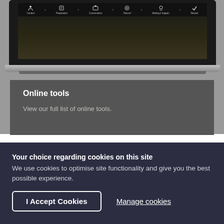[Figure (screenshot): Laptop mockup showing a workflow interface with steps: Context, Preparation, Conversation, Record, Making it happen, Review on a dark screen]
Online tools
View our full list of online tools.
Your choice regarding cookies on this site
We use cookies to optimise site functionality and give you the best possible experience.
I Accept Cookies
Manage cookies